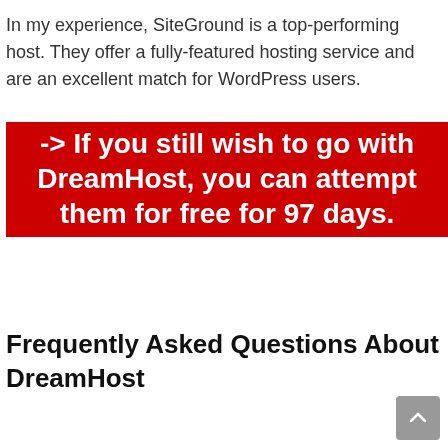In my experience, SiteGround is a top-performing host. They offer a fully-featured hosting service and are an excellent match for WordPress users.
-> If you still wish to go with DreamHost, you can attempt them for free for 97 days.
Frequently Asked Questions About DreamHost